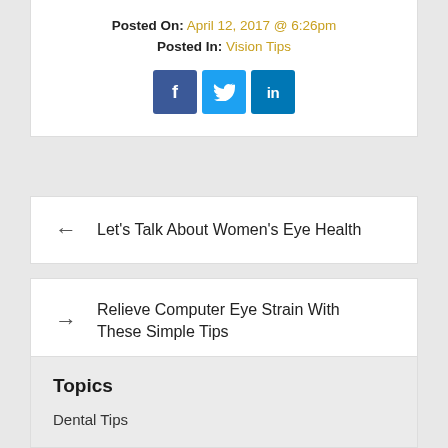Posted On: April 12, 2017 @ 6:26pm
Posted In: Vision Tips
[Figure (other): Social media share icons: Facebook (f), Twitter (bird), LinkedIn (in)]
← Let's Talk About Women's Eye Health
→ Relieve Computer Eye Strain With These Simple Tips
Topics
Dental Tips